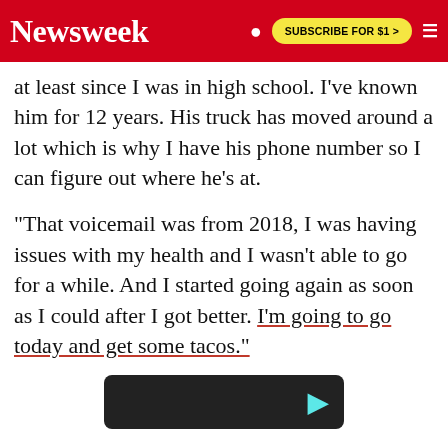Newsweek | SUBSCRIBE FOR $1 >
at least since I was in high school. I've known him for 12 years. His truck has moved around a lot which is why I have his phone number so I can figure out where he's at.
"That voicemail was from 2018, I was having issues with my health and I wasn't able to go for a while. And I started going again as soon as I could after I got better. I'm going to go today and get some tacos."
[Figure (screenshot): Dark video thumbnail with teal TikTok logo icon visible at bottom right]